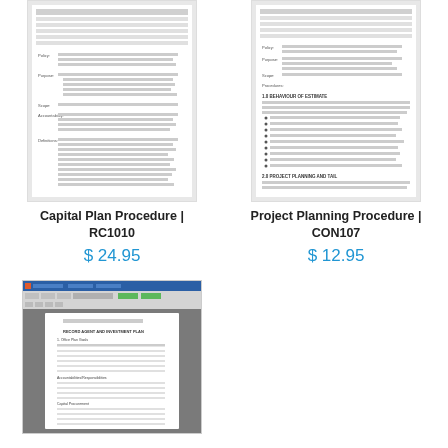[Figure (screenshot): Thumbnail of Capital Plan Procedure document RC1010]
[Figure (screenshot): Thumbnail of Project Planning Procedure document CON107]
Capital Plan Procedure | RC1010
$ 24.95
Project Planning Procedure | CON107
$ 12.95
[Figure (screenshot): Thumbnail of a Word document showing Recovery Agent and Investment Plan template]